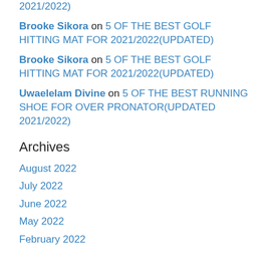2021/2022)
Brooke Sikora on 5 OF THE BEST GOLF HITTING MAT FOR 2021/2022(UPDATED)
Brooke Sikora on 5 OF THE BEST GOLF HITTING MAT FOR 2021/2022(UPDATED)
Uwaelelam Divine on 5 OF THE BEST RUNNING SHOE FOR OVER PRONATOR(UPDATED 2021/2022)
Archives
August 2022
July 2022
June 2022
May 2022
February 2022